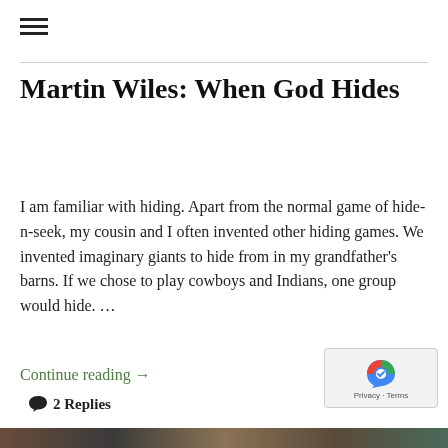≡
Martin Wiles: When God Hides
I am familiar with hiding. Apart from the normal game of hide-n-seek, my cousin and I often invented other hiding games. We invented imaginary giants to hide from in my grandfather's barns. If we chose to play cowboys and Indians, one group would hide. …
Continue reading →
💬 2 Replies